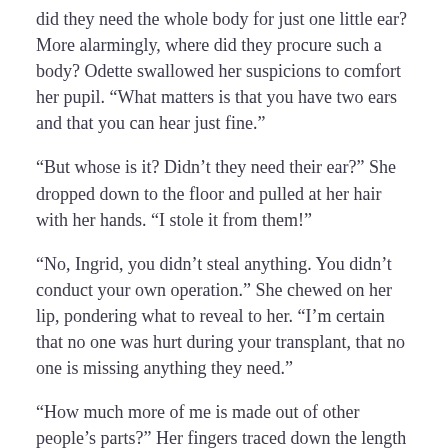did they need the whole body for just one little ear? More alarmingly, where did they procure such a body? Odette swallowed her suspicions to comfort her pupil. “What matters is that you have two ears and that you can hear just fine.”
“But whose is it? Didn’t they need their ear?” She dropped down to the floor and pulled at her hair with her hands. “I stole it from them!”
“No, Ingrid, you didn’t steal anything. You didn’t conduct your own operation.” She chewed on her lip, pondering what to reveal to her. “I’m certain that no one was hurt during your transplant, that no one is missing anything they need.”
“How much more of me is made out of other people’s parts?” Her fingers traced down the length of her hair. “Is